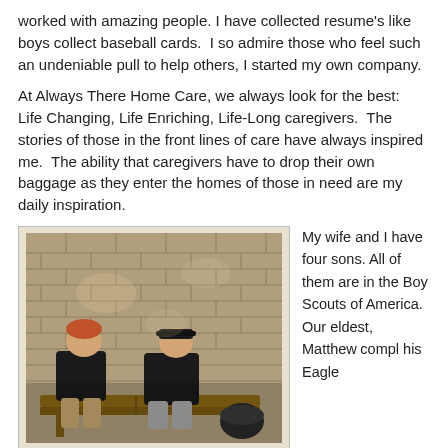worked with amazing people. I have collected resume's like boys collect baseball cards.  I so admire those who feel such an undeniable pull to help others, I started my own company.
At Always There Home Care, we always look for the best:  Life Changing, Life Enriching, Life-Long caregivers.  The stories of those in the front lines of care have always inspired me.  The ability that caregivers have to drop their own baggage as they enter the homes of those in need are my daily inspiration.
[Figure (photo): Two young men sitting on a wooden bench in front of a brick wall, both wearing black t-shirts. The one on the left has reddish hair and the one on the right wears a black cap. Sunlight and shadows visible.]
My wife and I have four sons. All of them are in the Boy Scouts of America. Our eldest, Matthew compl his Eagle